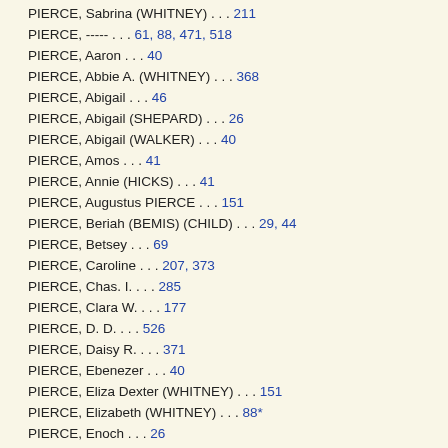PIER, Sabrina (WHITNEY) . . . 211
PIERCE, ----- . . . 61, 88, 471, 518
PIERCE, Aaron . . . 40
PIERCE, Abbie A. (WHITNEY) . . . 368
PIERCE, Abigail . . . 46
PIERCE, Abigail (SHEPARD) . . . 26
PIERCE, Abigail (WALKER) . . . 40
PIERCE, Amos . . . 41
PIERCE, Annie (HICKS) . . . 41
PIERCE, Augustus PIERCE . . . 151
PIERCE, Beriah (BEMIS) (CHILD) . . . 29, 44
PIERCE, Betsey . . . 69
PIERCE, Caroline . . . 207, 373
PIERCE, Chas. I. . . . 285
PIERCE, Clara W. . . . 177
PIERCE, D. D. . . . 526
PIERCE, Daisy R. . . . 371
PIERCE, Ebenezer . . . 40
PIERCE, Eliza Dexter (WHITNEY) . . . 151
PIERCE, Elizabeth (WHITNEY) . . . 88*
PIERCE, Enoch . . . 26
PIERCE, Ephram . . . 46
PIERCE, Eunice (LEATHE) . . . 40
PIERCE, Fannie A. (WHITNEY) (CHAMPION) . . . 526